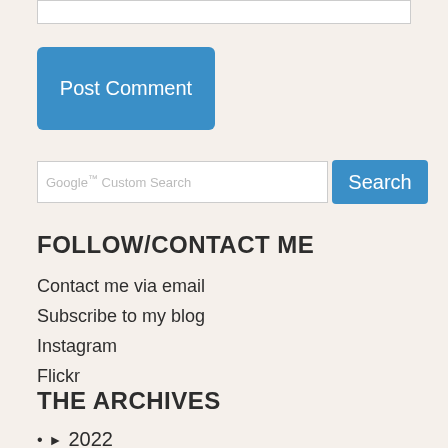[Figure (screenshot): Text input box (comment field) at top of page]
Post Comment
[Figure (screenshot): Google Custom Search input field with Search button]
FOLLOW/CONTACT ME
Contact me via email
Subscribe to my blog
Instagram
Flickr
THE ARCHIVES
► 2022